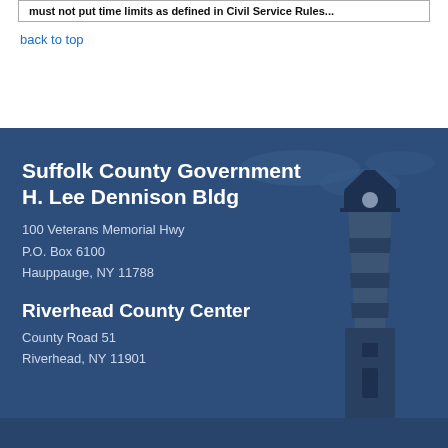must not put time limits as defined in Civil Service Rules...
back to top
[Figure (photo): Suffolk County Government footer with lighthouse background image in dark blue overlay]
Suffolk County Government
H. Lee Dennison Bldg
100 Veterans Memorial Hwy
P.O. Box 6100
Hauppauge, NY 11788
Riverhead County Center
County Road 51
Riverhead, NY 11901